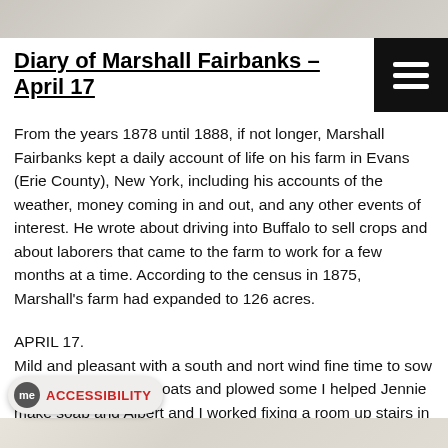[Figure (photo): Top portion of a scanned handwritten document, showing faint cursive handwriting on aged paper]
Diary of Marshall Fairbanks – April 17
From the years 1878 until 1888, if not longer, Marshall Fairbanks kept a daily account of life on his farm in Evans (Erie County), New York, including his accounts of the weather, money coming in and out, and any other events of interest. He wrote about driving into Buffalo to sell crops and about laborers that came to the farm to work for a few months at a time. According to the census in 1875, Marshall's farm had expanded to 126 acres.
APRIL 17.
Mild and pleasant with a south and nort wind fine time to sow grain Wet dragged in oats and plowed some I helped Jennie make soap and Albert and I worked fixing a room up stairs in the east end of the home for Albert room
[Figure (photo): Bottom portion of a scanned handwritten document, partially visible at the very bottom of the page]